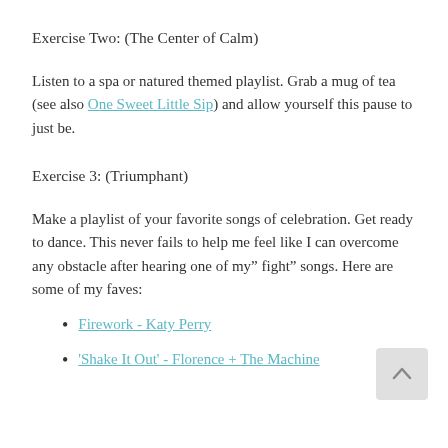Exercise Two: (The Center of Calm)
Listen to a spa or natured themed playlist. Grab a mug of tea (see also One Sweet Little Sip) and allow yourself this pause to just be.
Exercise 3: (Triumphant)
Make a playlist of your favorite songs of celebration. Get ready to dance. This never fails to help me feel like I can overcome any obstacle after hearing one of my” fight” songs. Here are some of my faves:
Firework - Katy Perry
'Shake It Out' - Florence + The Machine